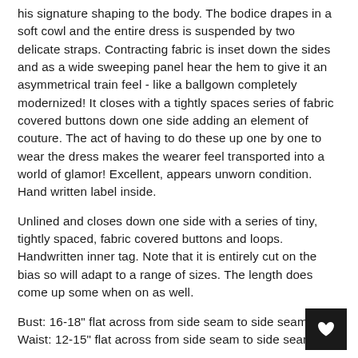his signature shaping to the body. The bodice drapes in a soft cowl and the entire dress is suspended by two delicate straps. Contracting fabric is inset down the sides and as a wide sweeping panel hear the hem to give it an asymmetrical train feel - like a ballgown completely modernized! It closes with a tightly spaces series of fabric covered buttons down one side adding an element of couture. The act of having to do these up one by one to wear the dress makes the wearer feel transported into a world of glamor! Excellent, appears unworn condition. Hand written label inside.
Unlined and closes down one side with a series of tiny, tightly spaced, fabric covered buttons and loops. Handwritten inner tag. Note that it is entirely cut on the bias so will adapt to a range of sizes. The length does come up some when on as well.
Bust: 16-18" flat across from side seam to side seam
Waist: 12-15" flat across from side seam to side seam